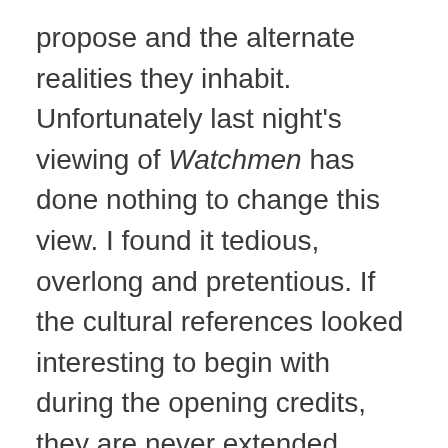propose and the alternate realities they inhabit.
Unfortunately last night's viewing of Watchmen has done nothing to change this view. I found it tedious, overlong and pretentious. If the cultural references looked interesting to begin with during the opening credits, they are never extended beyond the range of the average first year undergraduate. Let's make a list of this cultural hot potch.
American history and politics: the assassination of Kennedy, nuclear proliferation and deterrence, anti-